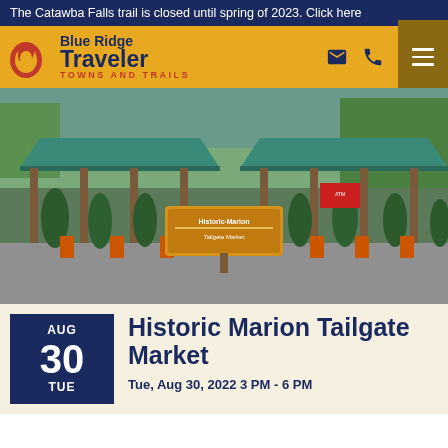The Catawba Falls trail is closed until spring of 2023. Click here
[Figure (logo): Blue Ridge Traveler - Towns and Trails logo with spiral icon]
[Figure (photo): Exterior photo of Historic Marion Tailgate Market building with green metal roof, wooden pavilion structure, orange construction barriers, cypress trees, and market sign in the center]
Historic Marion Tailgate Market
Tue, Aug 30, 2022 3 PM - 6 PM